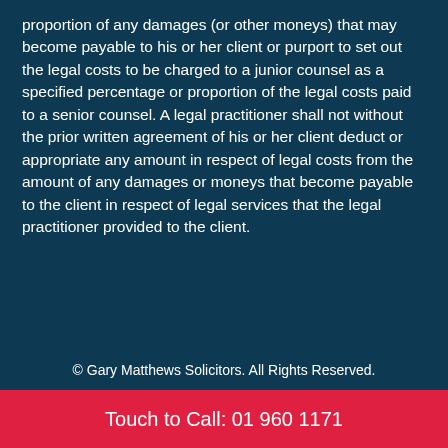proportion of any damages (or other moneys) that may become payable to his or her client or purport to set out the legal costs to be charged to a junior counsel as a specified percentage or proportion of the legal costs paid to a senior counsel. A legal practitioner shall not without the prior written agreement of his or her client deduct or appropriate any amount in respect of legal costs from the amount of any damages or moneys that become payable to the client in respect of legal services that the legal practitioner provided to the client.
© Gary Matthews Solicitors. All Rights Reserved.
Touch to Call: 01 960 1171